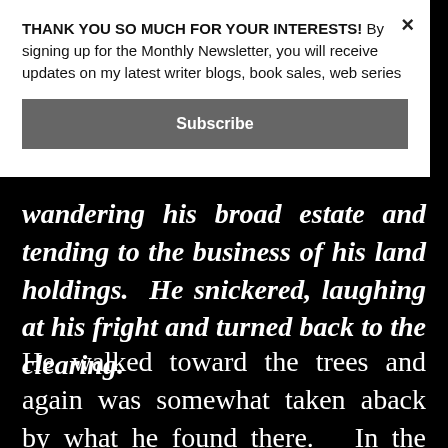THANK YOU SO MUCH FOR YOUR INTERESTS! By signing up for the Monthly Newsletter, you will receive updates on my latest writer blogs, book sales, web series
Subscribe
wandering his broad estate and tending to the business of his land holdings. He snickered, laughing at his fright and turned back to the clearing.
He walked toward the trees and again was somewhat taken aback by what he found there. In the center of the clearing, someone had recently built a